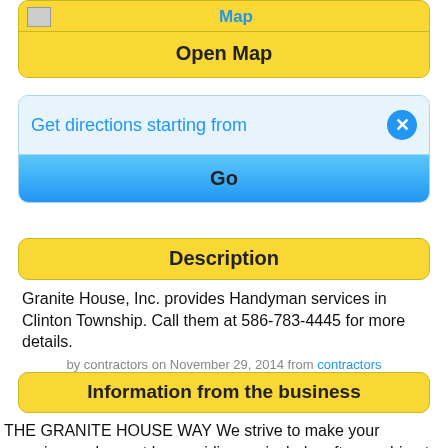[Figure (screenshot): Map header row with broken image icon on left and 'Map' text in blue on right]
Open Map
Get directions starting from
Go
Description
Granite House, Inc. provides Handyman services in Clinton Township. Call them at 586-783-4445 for more details.
by contractors on November 29, 2014 from contractors
Information from the business
THE GRANITE HOUSE WAY We strive to make your experience pleasant by providing unrivaled craftsmanship at a price you can afford. From start to finish, your project is our top priority. Payment Types: Cash, Visa, MasterCard